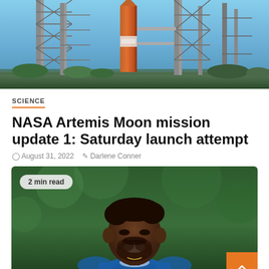[Figure (photo): NASA Artemis rocket on launch pad with steel support towers against a blue sky, viewed from ground level]
SCIENCE
NASA Artemis Moon mission update 1: Saturday launch attempt
August 31, 2022   Darlene Conner
[Figure (photo): NFL player in blue Indianapolis Colts uniform smiling at practice, with '2 min read' badge overlay and orange scroll-to-top button]